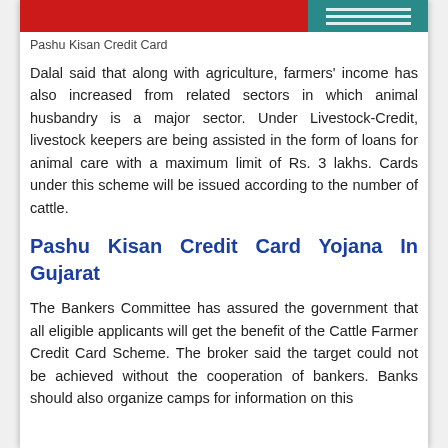[Figure (photo): Partial image of Pashu Kisan Credit Card graphic with red background on left and teal/green panel with horizontal lines on right]
Pashu Kisan Credit Card
Dalal said that along with agriculture, farmers' income has also increased from related sectors in which animal husbandry is a major sector. Under Livestock-Credit, livestock keepers are being assisted in the form of loans for animal care with a maximum limit of Rs. 3 lakhs. Cards under this scheme will be issued according to the number of cattle.
Pashu Kisan Credit Card Yojana In Gujarat
The Bankers Committee has assured the government that all eligible applicants will get the benefit of the Cattle Farmer Credit Card Scheme. The broker said the target could not be achieved without the cooperation of bankers. Banks should also organize camps for information on this